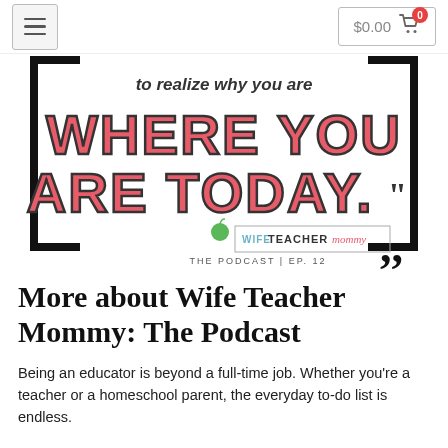$0.00
[Figure (illustration): Podcast episode graphic for Wife Teacher Mommy: The Podcast, Episode 12. Shows large red outlined block letters reading 'WHERE YOU ARE TODAY.' on white background with black bracket border. Smaller text above reads 'to realize why you are'. Bottom shows Wife Teacher Mommy logo with green apple, and large black closing quotation marks. Text below logo: THE PODCAST | EP. 12]
More about Wife Teacher Mommy: The Podcast
Being an educator is beyond a full-time job. Whether you're a teacher or a homeschool parent, the everyday to-do list is endless.